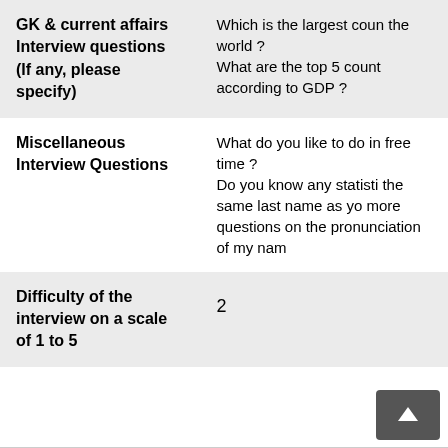| Category | Questions/Value |
| --- | --- |
| GK & current affairs Interview questions (If any, please specify) | Which is the largest country in the world ? What are the top 5 countries according to GDP ? |
| Miscellaneous Interview Questions | What do you like to do in your free time ? Do you know any statistics with the same last name as yours? more questions on the pronunciation of my name |
| Difficulty of the interview on a scale of 1 to 5 | 2 |